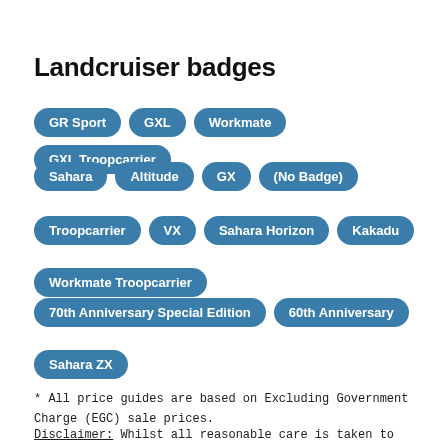Landcruiser badges
GR Sport
GXL
Workmate
GXL Troopcarrier
Sahara
Altitude
GX
(No Badge)
Troopcarrier
VX
Sahara Horizon
Kakadu
Workmate Troopcarrier
70th Anniversary Special Edition
60th Anniversary
Sahara ZX
* All price guides are based on Excluding Government Charge (EGC) sale prices.
Disclaimer: Whilst all reasonable care is taken to